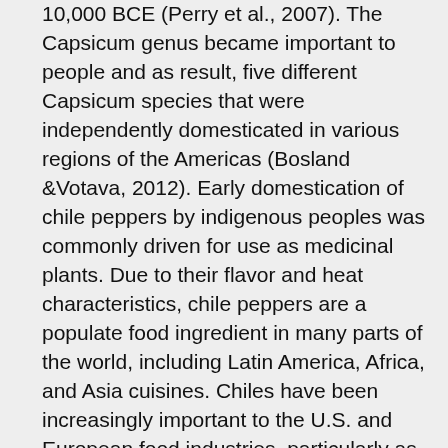10,000 BCE (Perry et al., 2007). The Capsicum genus became important to people and as result, five different Capsicum species that were independently domesticated in various regions of the Americas (Bosland &Votava, 2012). Early domestication of chile peppers by indigenous peoples was commonly driven for use as medicinal plants. Due to their flavor and heat characteristics, chile peppers are a populate food ingredient in many parts of the world, including Latin America, Africa, and Asia cuisines. Chiles have been increasingly important to the U.S. and European food industries, particularly as these populations become more familiar with chile (Guzman and Bosland, 2017).
There are five domesticated species of chile peppers. 1) Capsicum annuum is probably the most common to us and it includes many common varieties such as bell peppers, wax, cayenne, jalapeños, Thai peppers, chiltepin, and all forms of New Mexico chile. 2) Capsicum